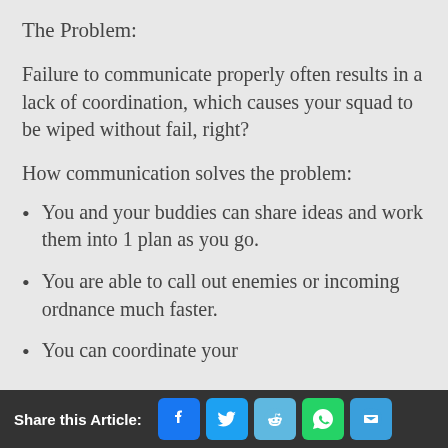The Problem:
Failure to communicate properly often results in a lack of coordination, which causes your squad to be wiped without fail, right?
How communication solves the problem:
You and your buddies can share ideas and work them into 1 plan as you go.
You are able to call out enemies or incoming ordnance much faster.
You can coordinate your
Share this Article: